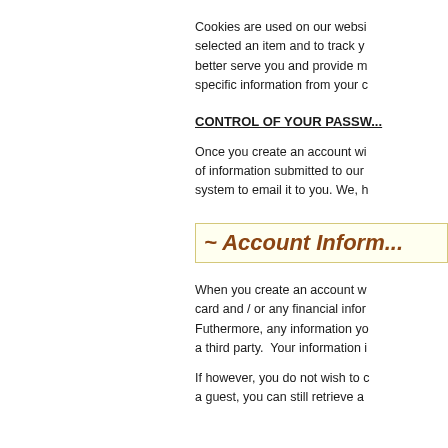Cookies are used on our website to remember you have selected an item and to track your movements so as to better serve you and provide more custom specific information from your c...
CONTROL OF YOUR PASSW...
Once you create an account w... of information submitted to our system to email it to you. We, h...
[Figure (other): Highlighted section header box with title '~ Account Inform...' in dark orange italic bold text on light yellow background]
When you create an account w... card and / or any financial infor... Futhermore, any information yo... a third party. Your information i...
If however, you do not wish to c... a guest, you can still retrieve a...